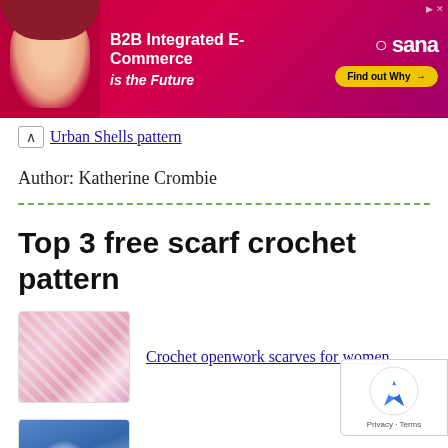[Figure (screenshot): Advertisement banner for Sana B2B Integrated E-Commerce with a woman's photo, text 'B2B Integrated E-Commerce is the Future', Sana logo, and 'Find out Why' button]
Urban Shells pattern
Author: Katherine Crombie
Top 3 free scarf crochet pattern
[Figure (photo): Thumbnail of crochet openwork scarves for women - pink/white lace texture]
Crochet openwork scarves for women
[Figure (photo): Thumbnail of cute crochet scarf of blue daisies - blue floral pattern]
Cute crochet scarf of blue daisies